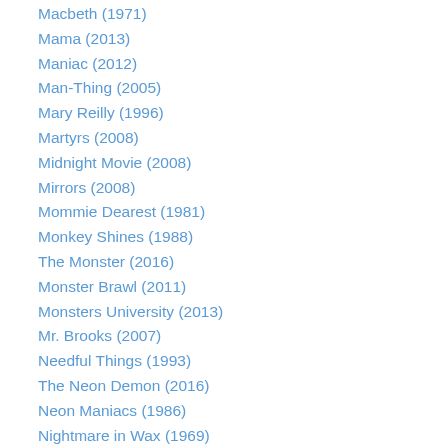Macbeth (1971)
Mama (2013)
Maniac (2012)
Man-Thing (2005)
Mary Reilly (1996)
Martyrs (2008)
Midnight Movie (2008)
Mirrors (2008)
Mommie Dearest (1981)
Monkey Shines (1988)
The Monster (2016)
Monster Brawl (2011)
Monsters University (2013)
Mr. Brooks (2007)
Needful Things (1993)
The Neon Demon (2016)
Neon Maniacs (1986)
Nightmare in Wax (1969)
Nightmares in Red, White, and Blue (2009)
Nurse 3D (2012)